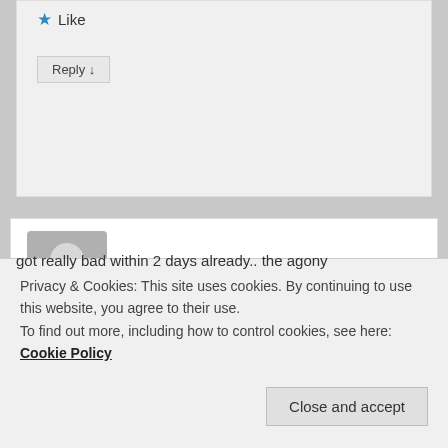★ Like
Reply ↓
Leonie Maene on February 19, 2020 at 5:16 AM said:
Esmée, I discovered something! I did so accidentally a few days ago… I had restarted the carnivore diet a week ago, and as per usual, I was got really bad within 2 days already.. the agony
Privacy & Cookies: This site uses cookies. By continuing to use this website, you agree to their use.
To find out more, including how to control cookies, see here: Cookie Policy
Close and accept